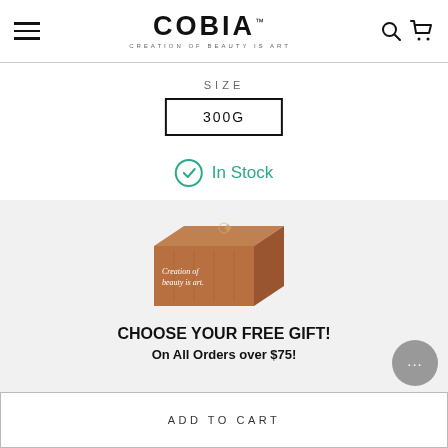COBIA — CREATION OF BEAUTY IS ART
SIZE
300G
In Stock
[Figure (photo): Brown cardboard box with COBIA branding reading 'Creation of beauty is art.' on a light gray background. Below the box: CHOOSE YOUR FREE GIFT! On All Orders over $75!]
CHOOSE YOUR FREE GIFT! On All Orders over $75!
ADD TO CART